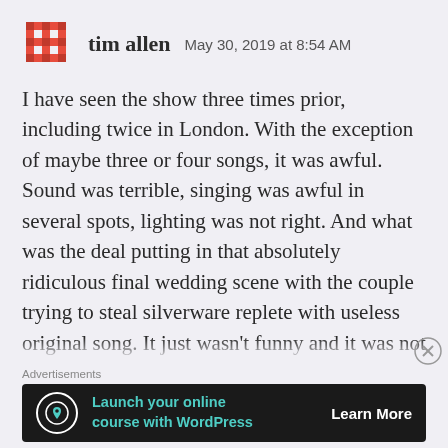tim allen   May 30, 2019 at 8:54 AM
I have seen the show three times prior, including twice in London. With the exception of maybe three or four songs, it was awful. Sound was terrible, singing was awful in several spots, lighting was not right. And what was the deal putting in that absolutely ridiculous final wedding scene with the couple trying to steal silverware replete with useless original song. It just wasn't funny and it was not the time to try and squeeze in one final joke. And what was that third Classette they tried to stick in? In my opinion
[Figure (other): Advertisement banner: Launch your online course with WordPress - Learn More button, dark background with teal text and tree icon]